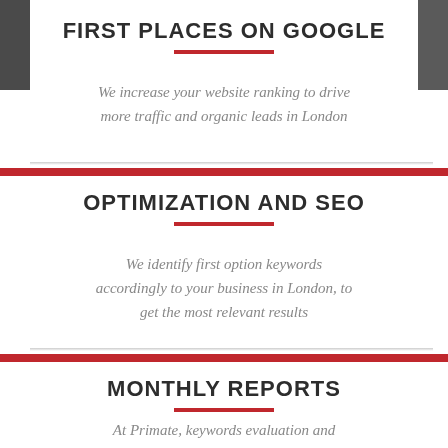FIRST PLACES ON GOOGLE
We increase your website ranking to drive more traffic and organic leads in London
OPTIMIZATION AND SEO
We identify first option keywords accordingly to your business in London, to get the most relevant results
MONTHLY REPORTS
At Primate, keywords evaluation and competitors' analysis reports are included